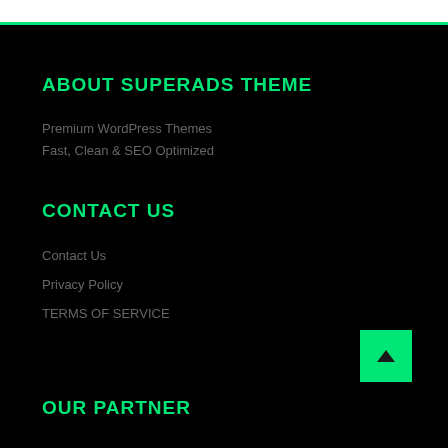ABOUT SUPERADS THEME
Premium WordPress Themes
Fast, Clean & SEO Optimized
CONTACT US
Contact Us
Privacy Policy
TERMS OF SERVICE
OUR PARTNER